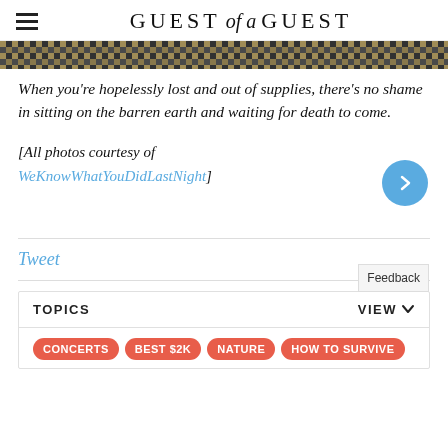GUEST of a GUEST
[Figure (photo): Partial photo strip showing a dark and golden textured image, cropped at top]
When you're hopelessly lost and out of supplies, there's no shame in sitting on the barren earth and waiting for death to come.
[All photos courtesy of WeKnowWhatYouDidLastNight]
Tweet
| TOPICS | VIEW |
| --- | --- |
| CONCERTS | BEST $2K | NATURE | HOW TO SURVIVE |